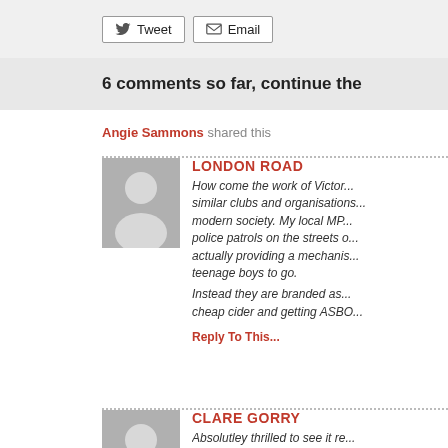Tweet  Email
6 comments so far, continue the
Angie Sammons shared this
LONDON ROAD
How come the work of Victor... similar clubs and organisations... modern society. My local MP... police patrols on the streets... actually providing a mechanism... teenage boys to go.

Instead they are branded as... cheap cider and getting ASBO...
Reply To This...
CLARE GORRY
Absolutley thrilled to see it re... (me all hot pants, pale blue e... never forget the eclectic mus... Maggie May, then Ride a Wh... Never any trouble, just kids e...
Reply To This...